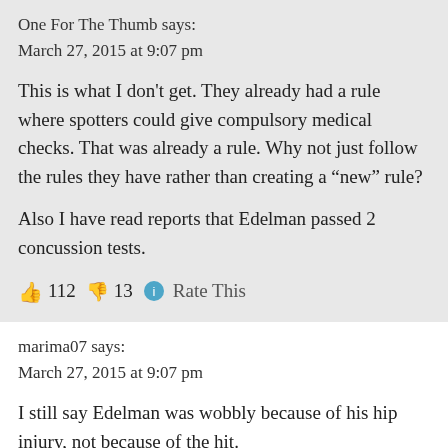One For The Thumb says:
March 27, 2015 at 9:07 pm
This is what I don't get. They already had a rule where spotters could give compulsory medical checks. That was already a rule. Why not just follow the rules they have rather than creating a “new” rule?
Also I have read reports that Edelman passed 2 concussion tests.
👍 112 👎 13 ℹ Rate This
marima07 says:
March 27, 2015 at 9:07 pm
I still say Edelman was wobbly because of his hip injury, not because of the hit.
Also- was Kam Chancellor on the list for that same play? He was more wobbly than Edelman.